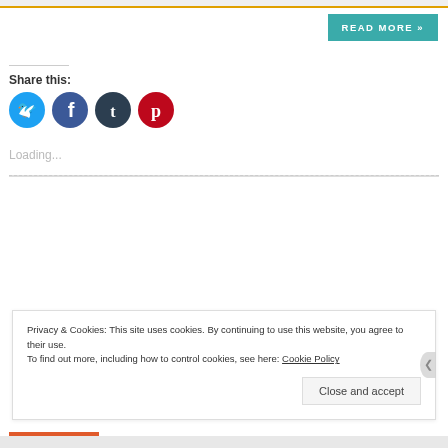READ MORE »
Share this:
[Figure (other): Social media share icons: Twitter (blue circle), Facebook (blue circle), Tumblr (dark navy circle), Pinterest (red circle)]
Loading...
Privacy & Cookies: This site uses cookies. By continuing to use this website, you agree to their use.
To find out more, including how to control cookies, see here: Cookie Policy
Close and accept